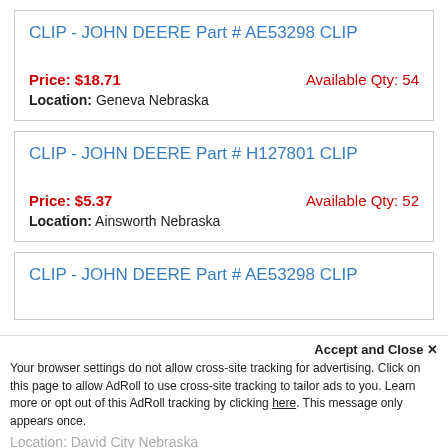CLIP - JOHN DEERE Part # AE53298 CLIP
Price: $18.71   Available Qty: 54
Location: Geneva Nebraska
CLIP - JOHN DEERE Part # H127801 CLIP
Price: $5.37   Available Qty: 52
Location: Ainsworth Nebraska
CLIP - JOHN DEERE Part # AE53298 CLIP
Location: David City Nebraska
Accept and Close ×
Your browser settings do not allow cross-site tracking for advertising. Click on this page to allow AdRoll to use cross-site tracking to tailor ads to you. Learn more or opt out of this AdRoll tracking by clicking here. This message only appears once.